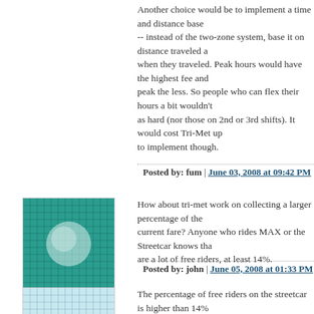Another choice would be to implement a time and distance base -- instead of the two-zone system, base it on distance traveled a when they traveled. Peak hours would have the highest fee and peak the less. So people who can flex their hours a bit wouldn't as hard (nor those on 2nd or 3rd shifts). It would cost Tri-Met up to implement though.
Posted by: fum | June 03, 2008 at 09:42 PM
[Figure (illustration): Avatar image with teal/green grid pattern]
How about tri-met work on collecting a larger percentage of the current fare? Anyone who rides MAX or the Streetcar knows tha are a lot of free riders, at least 14%.
Posted by: john | June 05, 2008 at 01:33 PM
[Figure (illustration): Avatar image with light blue grid pattern]
The percentage of free riders on the streetcar is higher than 14% crazy to make most of the streetcar's route (in fareless square) f and then expect people to pay $2.05 to ride a short distance thr the NW before the streetcar turns on Lovejoy and heads back in town.
The only time I've seen a fare inspector on the streetcar, people on, noticed him with his clipboard and then rushed to the machi